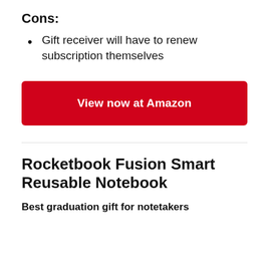Cons:
Gift receiver will have to renew subscription themselves
[Figure (other): Red button with white text: View now at Amazon]
Rocketbook Fusion Smart Reusable Notebook
Best graduation gift for notetakers